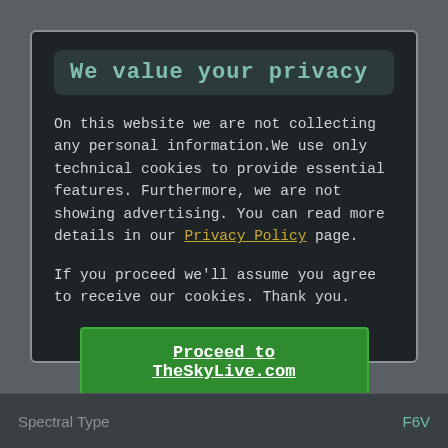We value your privacy
On this website we are not collecting any personal information.We use only technical cookies to provide essential features. Furthermore, we are not showing advertising. You can read more details in our Privacy Policy page.
If you proceed we'll assume you agree to receive our cookies. Thank you.
Proceed to TheSkyLive.com
Spectral Type    F6V